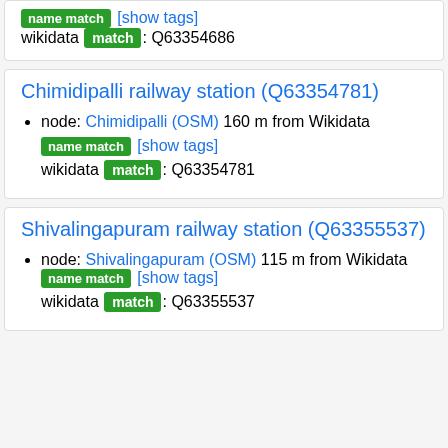name match [show tags] wikidata match: Q63354686
Chimidipalli railway station (Q63354781)
node: Chimidipalli (OSM) 160 m from Wikidata name match [show tags] wikidata match: Q63354781
Shivalingapuram railway station (Q63355537)
node: Shivalingapuram (OSM) 115 m from Wikidata name match [show tags] wikidata match: Q63355537